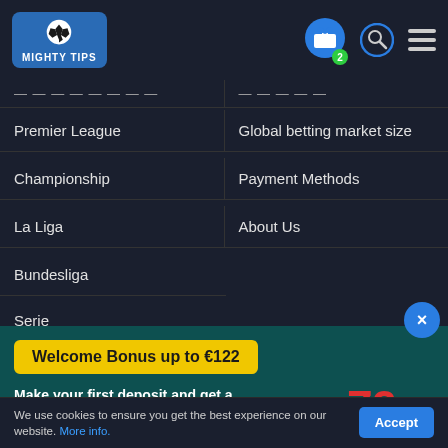[Figure (screenshot): MightyTips website header with logo, gift icon with badge showing 2, search icon, and hamburger menu icon on dark background]
Europa League (truncated) | Sitemap (truncated)
Premier League | Global betting market size
Championship | Payment Methods
La Liga | About Us
Bundesliga
Serie (truncated)
[Figure (screenshot): 22Bet promotional popup with yellow banner 'Welcome Bonus up to €122', text 'Make your first deposit and get a 100% BONUS up to €122', 22Bet logo, and green CLAIM THE BONUS button]
We use cookies to ensure you get the best experience on our website. More info.